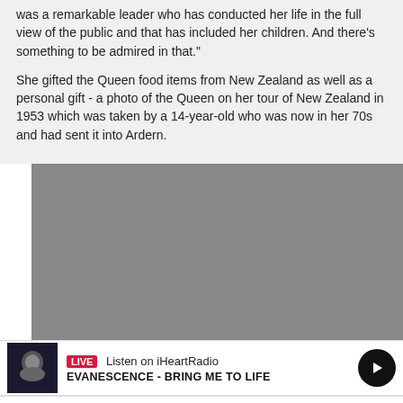was a remarkable leader who has conducted her life in the full view of the public and that has included her children. And there's something to be admired in that."
She gifted the Queen food items from New Zealand as well as a personal gift - a photo of the Queen on her tour of New Zealand in 1953 which was taken by a 14-year-old who was now in her 70s and had sent it into Ardern.
[Figure (photo): Large grey placeholder image, likely a photo related to the article]
[Figure (screenshot): iHeartRadio live radio bar showing Evanescence - Bring Me to Life with album art thumbnail, LIVE badge, and play button]
[Figure (infographic): App navigation bar with icons for Home, Podcasts, Shows, Win, and Menu]